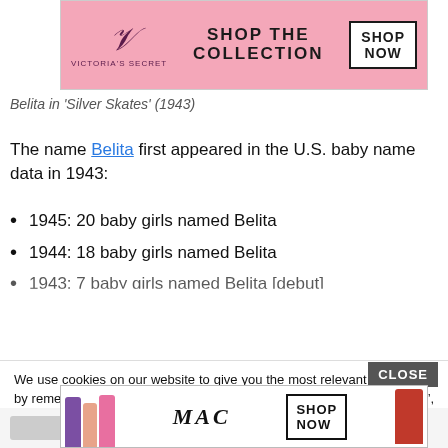[Figure (screenshot): Victoria's Secret advertisement banner with pink background, VS logo, 'SHOP THE COLLECTION' text and 'SHOP NOW' button]
Belita in 'Silver Skates' (1943)
The name Belita first appeared in the U.S. baby name data in 1943:
1945: 20 baby girls named Belita
1944: 18 baby girls named Belita
1943: 7 baby girls named Belita [debut]
We use cookies on our website to give you the most relevant experience by remembering your preferences and repeat visits. By clicking “Accept”, you consent to the use of ALL the cookies.
Do not sell my personal information.
[Figure (screenshot): MAC cosmetics advertisement banner with lipsticks, MAC logo, and 'SHOP NOW' button]